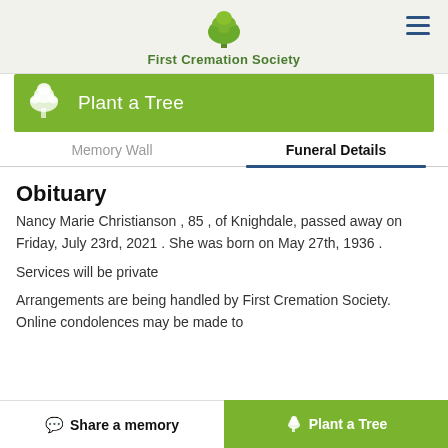First Cremation Society
[Figure (logo): First Cremation Society tree logo with green tree icon and organization name]
[Figure (infographic): Green Plant a Tree banner with white tree icon and text 'Plant a Tree']
Memory Wall   Funeral Details
Obituary
Nancy Marie Christianson , 85 , of Knighdale, passed away on Friday, July 23rd, 2021 . She was born on May 27th, 1936 .
Services will be private
Arrangements are being handled by First Cremation Society. Online condolences may be made to
Share a memory   Plant a Tree